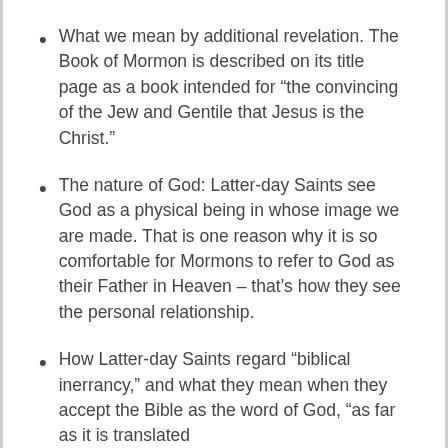What we mean by additional revelation. The Book of Mormon is described on its title page as a book intended for “the convincing of the Jew and Gentile that Jesus is the Christ.”
The nature of God: Latter-day Saints see God as a physical being in whose image we are made. That is one reason why it is so comfortable for Mormons to refer to God as their Father in Heaven – that’s how they see the personal relationship.
How Latter-day Saints regard “biblical inerrancy,” and what they mean when they accept the Bible as the word of God, “as far as it is translated